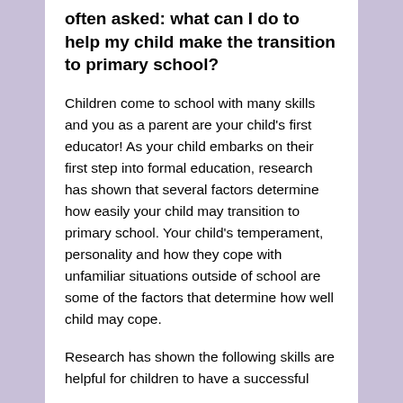often asked: what can I do to help my child make the transition to primary school?
Children come to school with many skills and you as a parent are your child's first educator! As your child embarks on their first step into formal education, research has shown that several factors determine how easily your child may transition to primary school. Your child's temperament, personality and how they cope with unfamiliar situations outside of school are some of the factors that determine how well child may cope.
Research has shown the following skills are helpful for children to have a successful